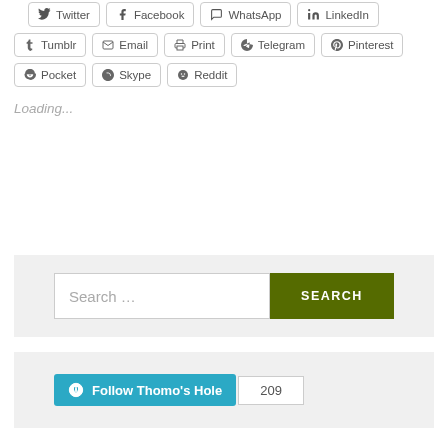[Figure (screenshot): Partial top row of social share buttons: Twitter, Facebook, WhatsApp, LinkedIn (cut off at top)]
Tumblr | Email | Print | Telegram | Pinterest
Pocket | Skype | Reddit
Loading...
[Figure (screenshot): Search widget with text input 'Search …' and green SEARCH button]
[Figure (screenshot): Follow widget with 'Follow Thomo's Hole' WordPress button and count badge showing 209]